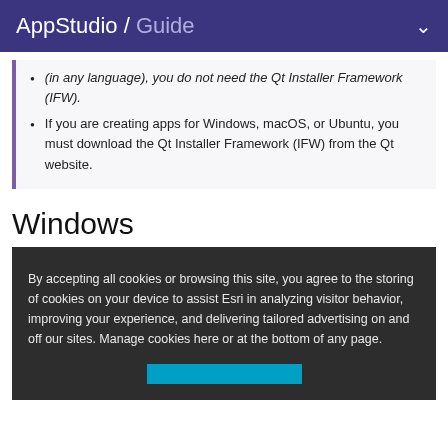AppStudio / Guide
(in any language), you do not need the Qt Installer Framework (IFW).
If you are creating apps for Windows, macOS, or Ubuntu, you must download the Qt Installer Framework (IFW) from the Qt website.
Windows
By accepting all cookies or browsing this site, you agree to the storing of cookies on your device to assist Esri in analyzing visitor behavior, improving your experience, and delivering tailored advertising on and off our sites. Manage cookies here or at the bottom of any page.